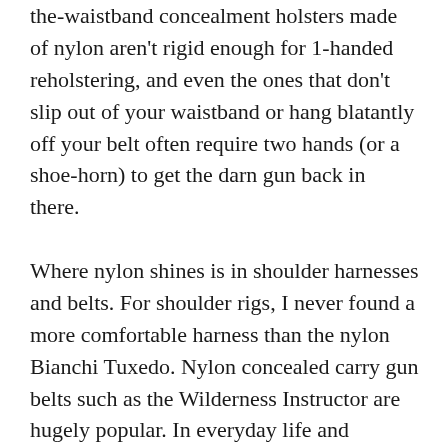the-waistband concealment holsters made of nylon aren't rigid enough for 1-handed reholstering, and even the ones that don't slip out of your waistband or hang blatantly off your belt often require two hands (or a shoe-horn) to get the darn gun back in there.
Where nylon shines is in shoulder harnesses and belts. For shoulder rigs, I never found a more comfortable harness than the nylon Bianchi Tuxedo. Nylon concealed carry gun belts such as the Wilderness Instructor are hugely popular. In everyday life and teaching, I wear one more than any other kind. In law enforcement, my travels around the country show me at least half of our